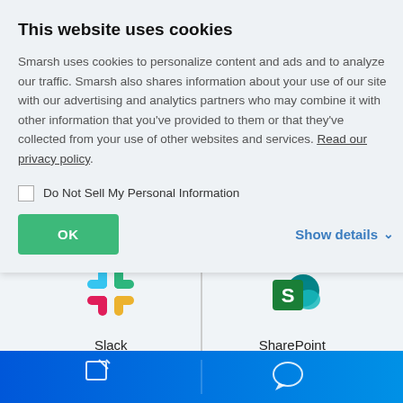This website uses cookies
Smarsh uses cookies to personalize content and ads and to analyze our traffic. Smarsh also shares information about your use of our site with our advertising and analytics partners who may combine it with other information that you’ve provided to them or that they’ve collected from your use of other websites and services. Read our privacy policy.
Do Not Sell My Personal Information
OK
Show details
[Figure (logo): Slack colorful logo]
Slack
[Figure (logo): SharePoint logo with S icon and cloud]
SharePoint
[Figure (screenshot): Bottom navigation bar on blue gradient background with two icons: a compose/edit icon on left and a chat bubble icon on right, separated by a vertical line]